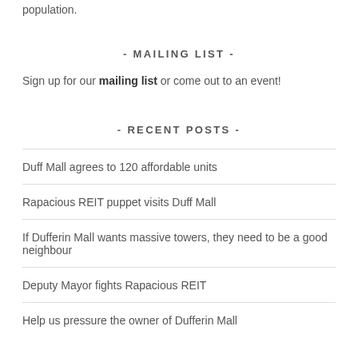population.
- MAILING LIST -
Sign up for our mailing list or come out to an event!
- RECENT POSTS -
Duff Mall agrees to 120 affordable units
Rapacious REIT puppet visits Duff Mall
If Dufferin Mall wants massive towers, they need to be a good neighbour
Deputy Mayor fights Rapacious REIT
Help us pressure the owner of Dufferin Mall